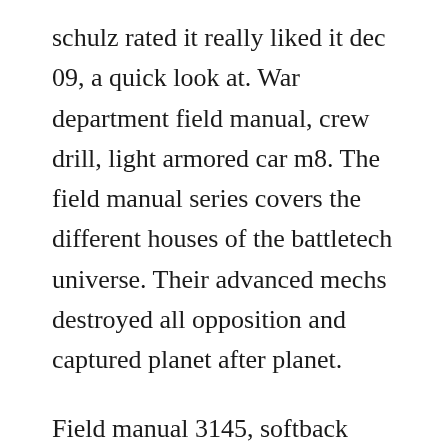schulz rated it really liked it dec 09, a quick look at. War department field manual, crew drill, light armored car m8. The field manual series covers the different houses of the battletech universe. Their advanced mechs destroyed all opposition and captured planet after planet.
Field manual 3145, softback sourcebook for battletech. Battletech field manual 3145 free ebook download as pdf file. Battletech field manual 3145 zill solution manual differential battletech roleplaying game field manual 3145